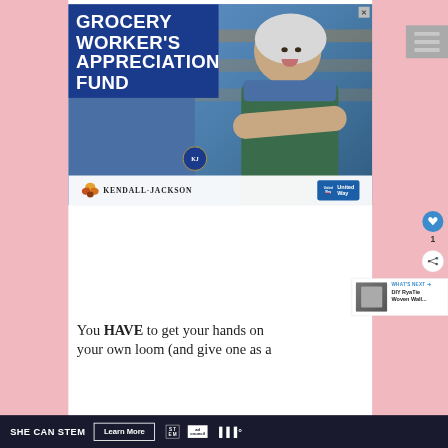[Figure (advertisement): Grocery Worker's Appreciation Fund advertisement featuring a smiling older woman with white hair wearing a green apron and blue shirt, arms crossed. Text overlay reads 'GROCERY WORKER'S APPRECIATION FUND'. Bottom bar shows Kendall-Jackson wine brand logo with a decorative leaf and United Way logo.]
[Figure (screenshot): Hamburger menu icon (three horizontal bars) in gray on the right side]
[Figure (other): Heart/like button (blue circle with heart icon) showing count of 1, and a share button below it]
[Figure (other): What's Next widget showing a thumbnail and text 'DIY RyaTie Woven Wall...']
You HAVE to get your hands on your own loom (and give one as a
[Figure (advertisement): Bottom ad bar: dark navy background with 'SHE CAN STEM' text, 'Learn More' button, STEM logo, Ad Council logo, and Mshka logo]